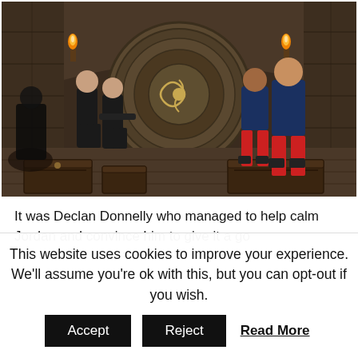[Figure (photo): Scene inside a castle dungeon with stone walls, torches, and a large circular stone door/disk with a decorative symbol. Four people are visible: two dressed in black on the left (presenters Ant and Dec), and two on the right in blue jackets with red trousers (contestants). Wooden chests/boxes are visible in the foreground on the floor.]
It was Declan Donnelly who managed to help calm Jordan and convince him to give it a go
This website uses cookies to improve your experience. We'll assume you're ok with this, but you can opt-out if you wish.